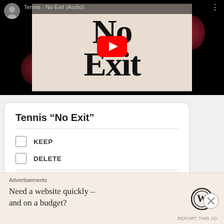[Figure (screenshot): YouTube video thumbnail for 'Tennis No Exit (Audio)' showing a black-and-white 'No Exit' poster graphic with red YouTube play button overlay, avatar icon and title bar at top]
Tennis “No Exit”
KEEP
DELETE
Advertisements
Need a website quickly – and on a budget?